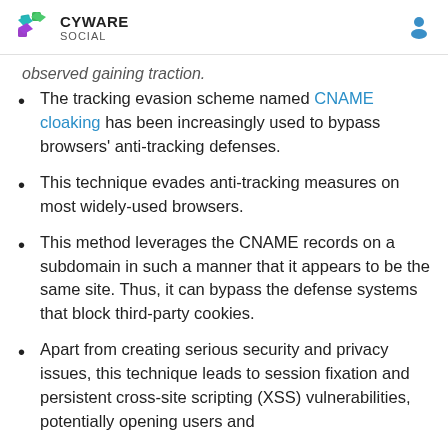CYWARE SOCIAL
observed gaining traction.
The tracking evasion scheme named CNAME cloaking has been increasingly used to bypass browsers' anti-tracking defenses.
This technique evades anti-tracking measures on most widely-used browsers.
This method leverages the CNAME records on a subdomain in such a manner that it appears to be the same site. Thus, it can bypass the defense systems that block third-party cookies.
Apart from creating serious security and privacy issues, this technique leads to session fixation and persistent cross-site scripting (XSS) vulnerabilities, potentially opening users and